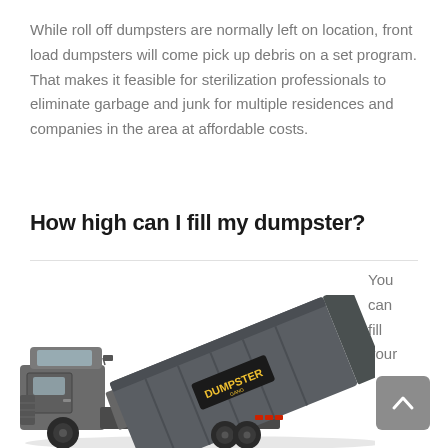While roll off dumpsters are normally left on location, front load dumpsters will come pick up debris on a set program. That makes it feasible for sterilization professionals to eliminate garbage and junk for multiple residences and companies in the area at affordable costs.
How high can I fill my dumpster?
You can fill your
[Figure (photo): A roll-off dumpster truck with a large grey dumpster container being unloaded, shown from the side/rear with the dumpster tilted at an angle. The dumpster has a 'DUMPSTER' logo label on it.]